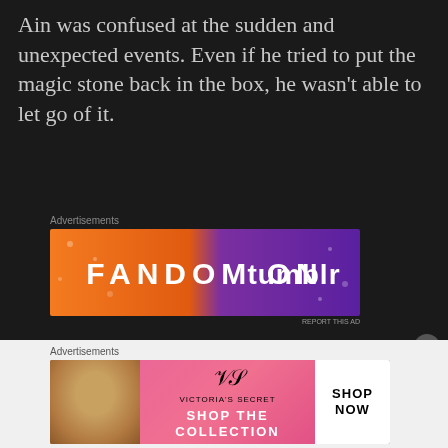Ain was confused at the sudden and unexpected events. Even if he tried to put the magic stone back in the box, he wasn't able to let go of it.
[Figure (other): Fandom on Tumblr advertisement banner with orange and purple gradient background]
“Nya……Let go of it, nyaaaaaaa! ”
In such a strange situation, Katima made a move. Tackling Ain by the back, he pushed him
[Figure (other): Victoria's Secret advertisement banner with pink background, model photo, shop the collection text and shop now button]